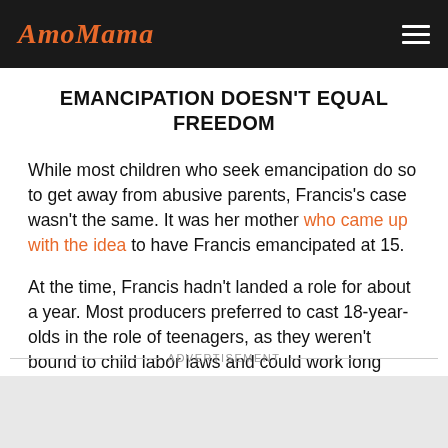AmoMama
EMANCIPATION DOESN'T EQUAL FREEDOM
While most children who seek emancipation do so to get away from abusive parents, Francis's case wasn't the same. It was her mother who came up with the idea to have Francis emancipated at 15.
At the time, Francis hadn't landed a role for about a year. Most producers preferred to cast 18-year-olds in the role of teenagers, as they weren't bound to child labor laws and could work long hours.
ADVERTISEMENT